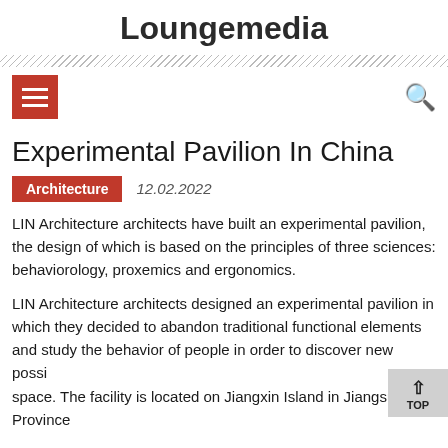Loungemedia
Experimental Pavilion In China
Architecture   12.02.2022
LIN Architecture architects have built an experimental pavilion, the design of which is based on the principles of three sciences: behaviorology, proxemics and ergonomics.
LIN Architecture architects designed an experimental pavilion in which they decided to abandon traditional functional elements and study the behavior of people in order to discover new possibilities of space. The facility is located on Jiangxin Island in Jiangsu Province